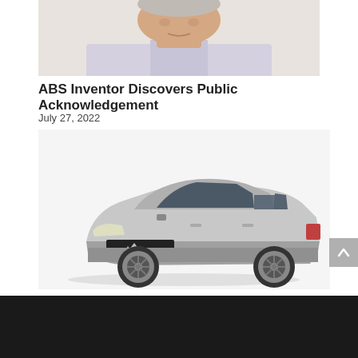[Figure (photo): Cropped photo of an older man's face and upper body wearing a light blue/white shirt, photo cut off at top]
ABS Inventor Discovers Public Acknowledgement
July 27, 2022
[Figure (photo): Silver Mitsubishi Outlander SUV on white background, front three-quarter view]
[Figure (infographic): NRS Galvanized Brake Pads advertisement banner. Left side dark background with NRS logo (circular badge) and NASCAR PROVEN BRAKES text. Center shows brake pad image. Right side has red background with text 'Now Available For Your Car!' and website www.nrsbrakes.com]